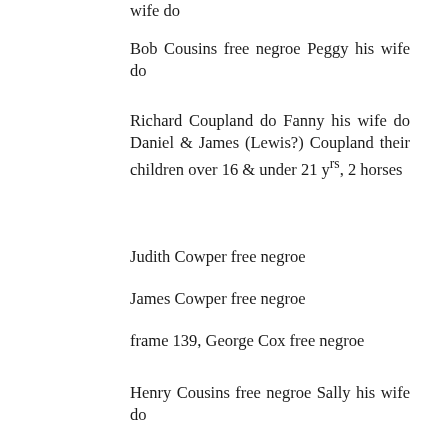wife do
Bob Cousins free negroe Peggy his wife do
Richard Coupland do Fanny his wife do Daniel & James (Lewis?) Coupland their children over 16 & under 21 yrs, 2 horses
Judith Cowper free negroe
James Cowper free negroe
frame 139, George Cox free negroe
Henry Cousins free negroe Sally his wife do
Barbary Cousins do
Betty Cousins free negroe
Sally Cousins do Dover